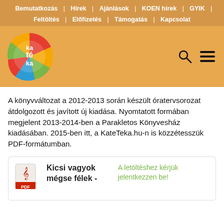Bemutatkozás | Hírek | Ajánlások | KOEN hírek | GYIK | Feltöltés | Előfizetés | Támogatás | Kapcsolat
[Figure (logo): KateTeka circular logo with colorful design and white text]
A könyvváltozat a 2012-2013 során készült óratervsorozat átdolgozott és javított új kiadása. Nyomtatott formában megjelent 2013-2014-ben a Parakletos Könyvesház kiadásában. 2015-ben itt, a KateTeka.hu-n is közzétesszük PDF-formátumban.
Kicsi vagyok mégse félek - A letöltéshez kérjük jelentkezzen be!